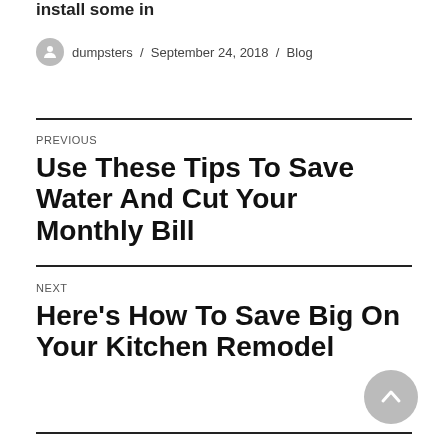install some in
dumpsters / September 24, 2018 / Blog
PREVIOUS
Use These Tips To Save Water And Cut Your Monthly Bill
NEXT
Here's How To Save Big On Your Kitchen Remodel